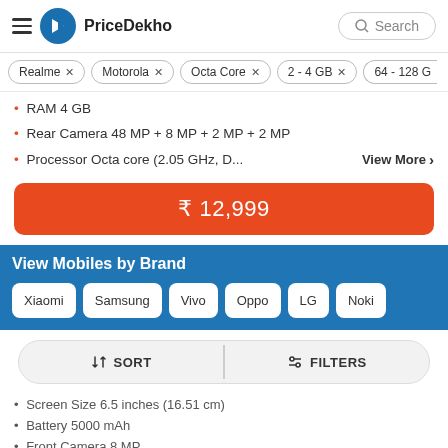PriceDekho
Realme ×
Motorola ×
Octa Core ×
2 - 4 GB ×
64 - 128 G
RAM 4 GB
Rear Camera 48 MP + 8 MP + 2 MP + 2 MP
Processor Octa core (2.05 GHz, D...
₹ 12,999
View Mobiles by Brand
Xiaomi
Samsung
Vivo
Oppo
LG
Nokia
SORT   FILTERS
Screen Size 6.5 inches (16.51 cm)
Battery 5000 mAh
Front Camera 8 MP